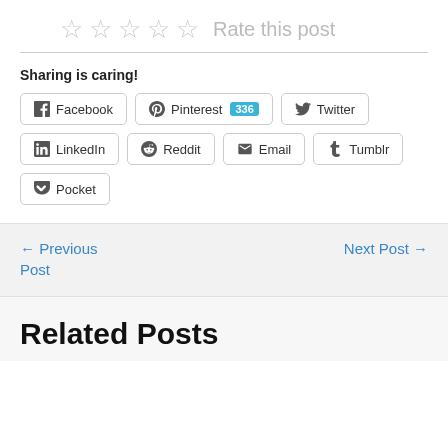[Figure (other): Star rating widget with 5 empty stars and 'Rate this post' text]
Sharing is caring!
Facebook | Pinterest 336 | Twitter | LinkedIn | Reddit | Email | Tumblr | Pocket
← Previous Post
Next Post →
Related Posts